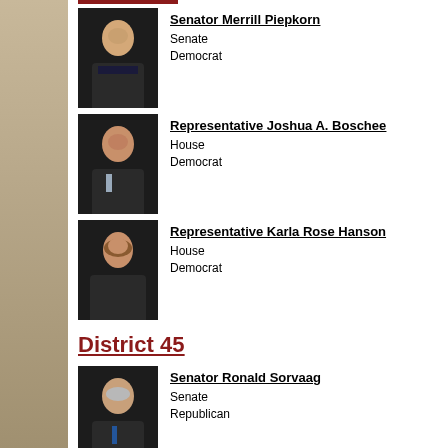[Figure (photo): Portrait photo of Senator Merrill Piepkorn]
Senator Merrill Piepkorn
Senate
Democrat
[Figure (photo): Portrait photo of Representative Joshua A. Boschee]
Representative Joshua A. Boschee
House
Democrat
[Figure (photo): Portrait photo of Representative Karla Rose Hanson]
Representative Karla Rose Hanson
House
Democrat
District 45
[Figure (photo): Portrait photo of Senator Ronald Sorvaag]
Senator Ronald Sorvaag
Senate
Republican
[Figure (photo): Partially visible portrait photo at bottom]